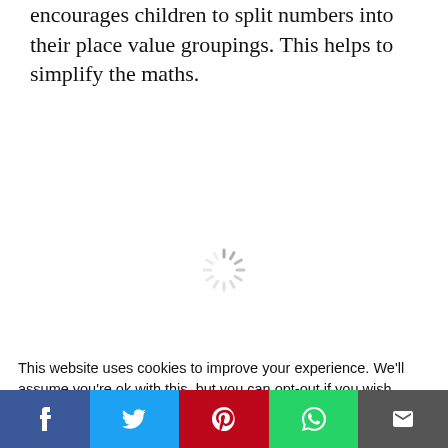encourages children to split numbers into their place value groupings. This helps to simplify the maths.
[Figure (other): Loading spinner graphic (circular dashed loader icon)]
This website uses cookies to improve your experience. We'll assume you're ok with this, but you can opt-out if you wish.
[Figure (other): Social media share bar with Facebook, Twitter, Pinterest, WhatsApp, and Email buttons]